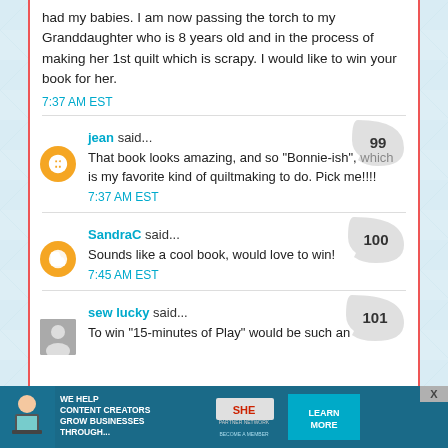had my babies. I am now passing the torch to my Granddaughter who is 8 years old and in the process of making her 1st quilt which is scrapy. I would like to win your book for her.
7:37 AM EST
jean said...
That book looks amazing, and so "Bonnie-ish", which is my favorite kind of quiltmaking to do. Pick me!!!!
7:37 AM EST
SandraC said...
Sounds like a cool book, would love to win!
7:45 AM EST
sew lucky said...
To win "15-minutes of Play" would be such an
[Figure (infographic): SHE Partner Network advertisement banner at bottom: 'We help content creators grow businesses through...' with a woman using laptop, SHE logo, and 'Learn More / Become a Member' button]